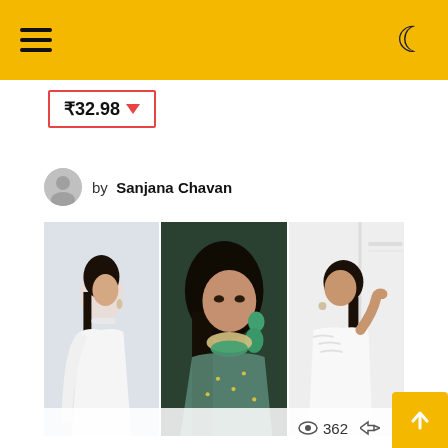Navigation bar with hamburger menu and dark mode icon
₹32.98 ▼
by Sanjana Chavan
[Figure (photo): Collage of three Bollywood actresses in elegant outfits. Left: woman in white strapless gown with cape. Center: woman with green jewellery and embroidered outfit. Right: woman in white sweater and skirt.]
362